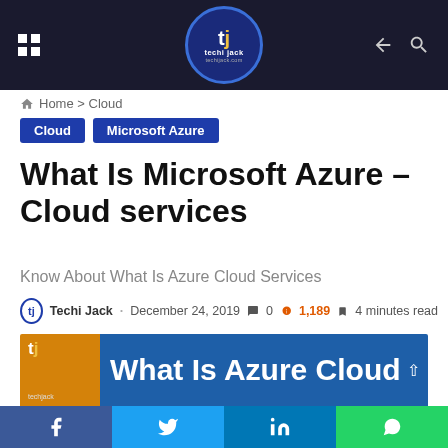techi jack — navigation header with logo, grid menu, dark mode and search icons
Home > Cloud
Cloud   Microsoft Azure
What Is Microsoft Azure – Cloud services
Know About What Is Azure Cloud Services
Techi Jack · December 24, 2019 · 0 · 1,189 · 4 minutes read
[Figure (photo): Featured article image showing 'What Is Azure Cloud' text on blue background with techi jack logo on orange/yellow left panel]
Social share bar: Facebook, Twitter, LinkedIn, WhatsApp